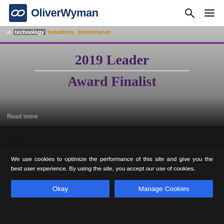Oliver Wyman
[Figure (photo): Award banner image showing '2019 Leader Award Finalist' text on a grey/silver background with purple horizontal bar. Top text overlay reads 'in technology industries #teenshecan' in orange and white. A 'Read more' link appears at bottom left.]
[Figure (photo): Partial second banner image showing a dark figure/silhouette on a grey background.]
We use cookies to optimize the performance of this site and give you the best user experience. By using the site, you accept our use of cookies.
Okay
Manage Cookies